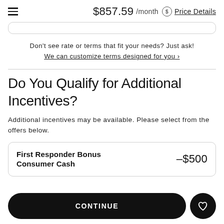$857.59 /month  Price Details
Don't see rate or terms that fit your needs? Just ask!
We can customize terms designed for you ›
Do You Qualify for Additional Incentives?
Additional incentives may be available. Please select from the offers below.
First Responder Bonus Consumer Cash   –$500
CONTINUE